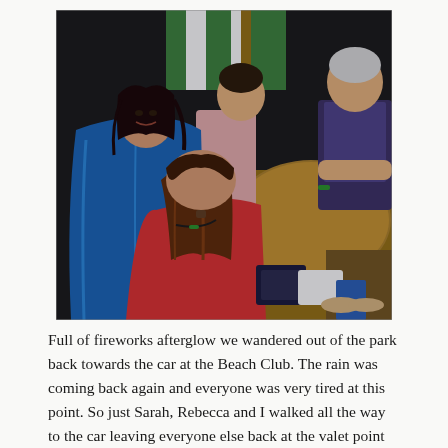[Figure (photo): A group of people sheltering indoors, possibly at a park or resort. A smiling young woman wearing a blue rain poncho is prominent on the left. A child with long brown hair and a red shirt is seen from behind in the foreground. Two women sit near a round wooden table in the background. A green and white striped umbrella is visible at the top.]
Full of fireworks afterglow we wandered out of the park back towards the car at the Beach Club. The rain was coming back again and everyone was very tired at this point. So just Sarah, Rebecca and I walked all the way to the car leaving everyone else back at the valet point for us to return to pick them up.